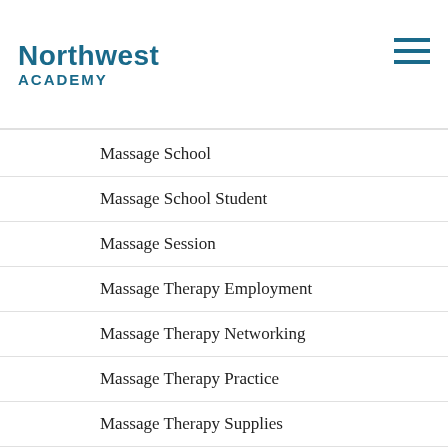Northwest ACADEMY
Massage School
Massage School Student
Massage Session
Massage Therapy Employment
Massage Therapy Networking
Massage Therapy Practice
Massage Therapy Supplies
Seattle Massage School
Tacoma Massage School
Top 10 Reasons